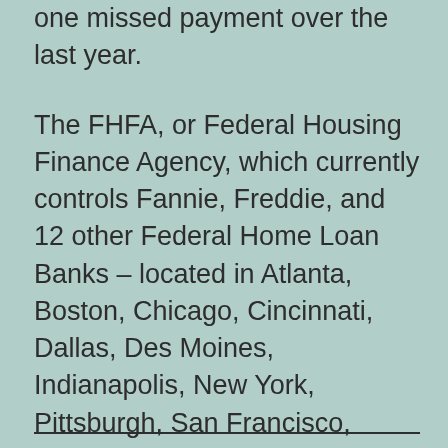one missed payment over the last year.
The FHFA, or Federal Housing Finance Agency, which currently controls Fannie, Freddie, and 12 other Federal Home Loan Banks – located in Atlanta, Boston, Chicago, Cincinnati, Dallas, Des Moines, Indianapolis, New York, Pittsburgh, San Francisco, Seattle and Topeka – is expected to announce the final program parameters by November 15.